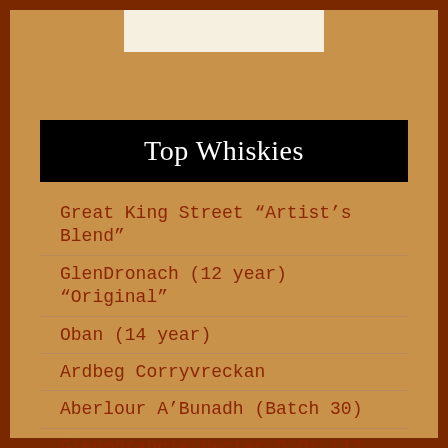[Figure (other): White rectangular image area at the top center of the page]
Top Whiskies
Great King Street “Artist’s Blend”
GlenDronach (12 year) “Original”
Oban (14 year)
Ardbeg Corryvreckan
Aberlour A’Bunadh (Batch 30)
Glenmorangie Nectar D’Or (12 year)
Laphroaig (10 year)
Aberlour A’Bunadh (Batch 29)
Talisker (10 year)
The Balvenie (15 year) Single Barrel Cask #201